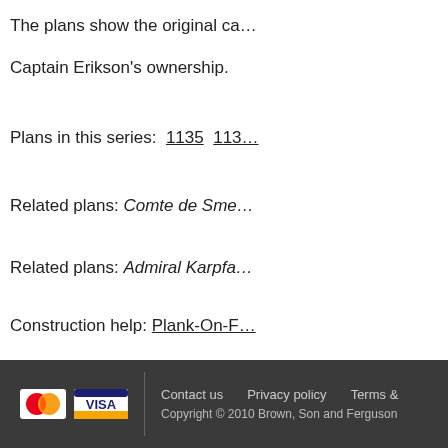The plans show the original ca…
Captain Erikson's ownership.
Plans in this series: 1135  113…
Related plans: Comte de Sme…
Related plans: Admiral Karpfa…
Construction help: Plank-On-F…
Related book: Sail Training ar…
Guide to Masts and Spars: De…
Catalogues: Sailing Ships  Po…
Contact us  Privacy policy  Terms &  Copyright © 2010 Brown, Son and Ferguson